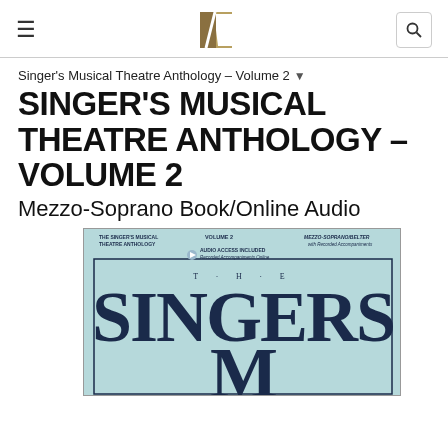≡  [Hal Leonard logo]  🔍
Singer's Musical Theatre Anthology – Volume 2 ▾
SINGER'S MUSICAL THEATRE ANTHOLOGY – VOLUME 2
Mezzo-Soprano Book/Online Audio
[Figure (photo): Book cover of The Singer's Musical Theatre Anthology Volume 2, Mezzo-Soprano/Belter edition with light blue/teal background, showing 'THE SINGERS' in large dark navy serif font, with top text showing series name, volume, and voice type details, and an audio access included badge.]